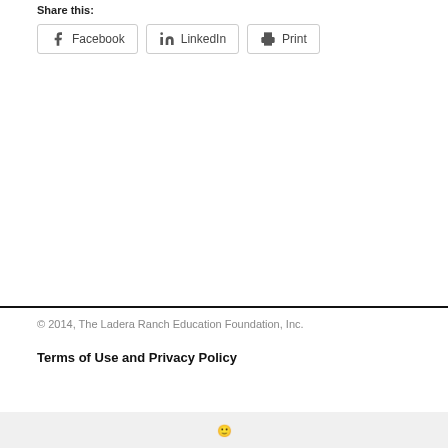Share this:
Facebook  LinkedIn  Print
© 2014, The Ladera Ranch Education Foundation, Inc.
Terms of Use and Privacy Policy